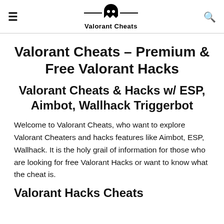≡  Valorant Cheats  🔍
Valorant Cheats – Premium & Free Valorant Hacks
Valorant Cheats & Hacks w/ ESP, Aimbot, Wallhack Triggerbot
Welcome to Valorant Cheats, who want to explore Valorant Cheaters and hacks features like Aimbot, ESP, Wallhack. It is the holy grail of information for those who are looking for free Valorant Hacks or want to know what the cheat is.
Valorant Hacks Cheats